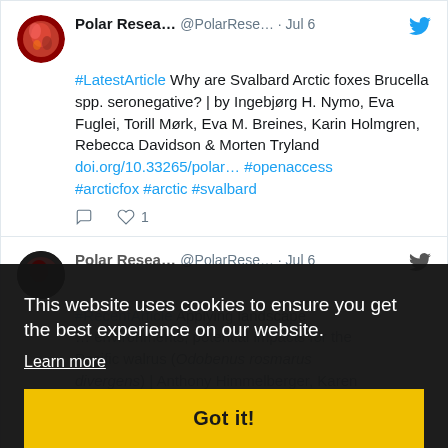[Figure (screenshot): Twitter/social media screenshot showing two tweets from Polar Research account and a cookie consent overlay. First tweet: #LatestArticle about Svalbard Arctic foxes Brucella spp., Jul 6. Second tweet: #RecentArticle about landscape and walrus. Cookie banner overlay with 'Got it!' button.]
Polar Resea... @PolarRese... · Jul 6
#LatestArticle Why are Svalbard Arctic foxes Brucella spp. seronegative? | by Ingebjørg H. Nymo, Eva Fuglei, Torill Mørk, Eva M. Breines, Karin Holmgren, Rebecca Davidson & Morten Tryland doi.org/10.33265/polar… #openaccess #arcticfox #arctic #svalbard
Polar Resea... @PolarRese... · Jul 6
#RecentArticle Applying landscape ... environments, potential impacts for the Pacific walrus (Odobenus rosmarus divergens) | Anthony Himmelberger, Karen E. Frey, Florencia Sangermano doi.org/... pola... #openaccess #walrus
This website uses cookies to ensure you get the best experience on our website.
Learn more
Got it!